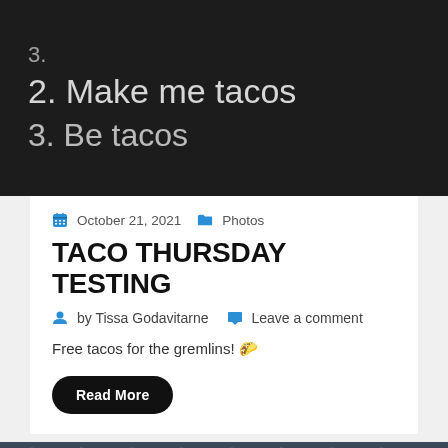[Figure (photo): Chalkboard with handwritten chalk text: '2. Make me tacos' and '3. Be tacos' (partial lines visible)]
October 21, 2021   Photos
TACO THURSDAY TESTING
by Tissa Godavitarne   Leave a comment
Free tacos for the gremlins! 🌮
Read More
[Figure (photo): Partial view of construction scaffolding against a dark sky]